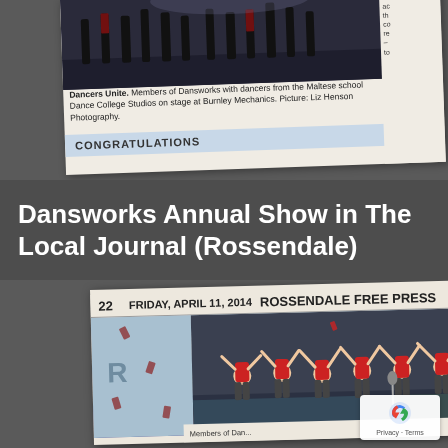[Figure (photo): Top newspaper clipping showing dancers on stage with a caption reading 'Dancers Unite. Members of Dansworks with dancers from the Maltese school Dance College Studios on stage at Burnley Mechanics. Picture: Liz Henson Photography.' and a CONGRATULATIONS bar visible at bottom.]
Dancers Unite. Members of Dansworks with dancers from the Maltese school Dance College Studios on stage at Burnley Mechanics. Picture: Liz Henson Photography.
Dansworks Annual Show in The Local Journal (Rossendale)
[Figure (photo): Bottom newspaper clipping from Rossendale Free Press, page 22, Friday April 11 2014, showing Dansworks Dance Academy members with arms raised on stage, with Dansworks! Dance Academy logo visible.]
Members of Dan...